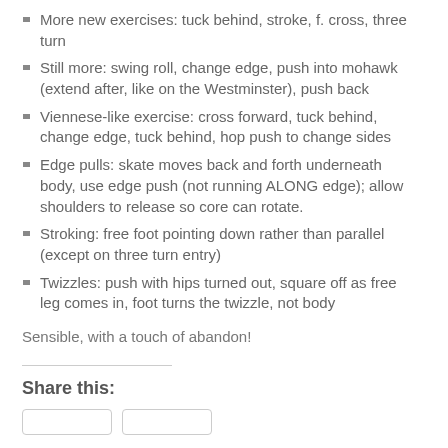More new exercises: tuck behind, stroke, f. cross, three turn
Still more: swing roll, change edge, push into mohawk (extend after, like on the Westminster), push back
Viennese-like exercise: cross forward, tuck behind, change edge, tuck behind, hop push to change sides
Edge pulls: skate moves back and forth underneath body, use edge push (not running ALONG edge); allow shoulders to release so core can rotate.
Stroking: free foot pointing down rather than parallel (except on three turn entry)
Twizzles: push with hips turned out, square off as free leg comes in, foot turns the twizzle, not body
Sensible, with a touch of abandon!
Share this: